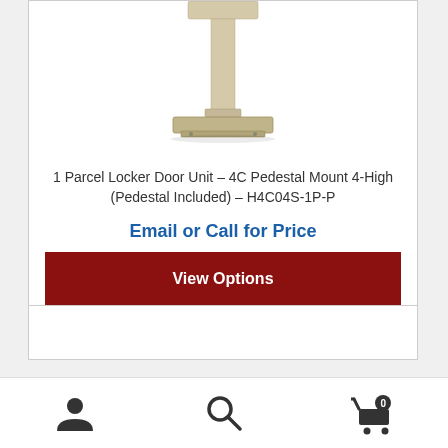[Figure (photo): A beige/cream colored parcel locker pedestal unit with a tall vertical post and a wide flat base plate at the bottom. The top portion is partially cut off.]
1 Parcel Locker Door Unit – 4C Pedestal Mount 4-High (Pedestal Included) – H4C04S-1P-P
Email or Call for Price
View Options
[Figure (screenshot): Partial view of the top of a second product card, cut off at bottom]
[Figure (other): Bottom navigation bar with user account icon, search icon, and cart icon with 0 badge]